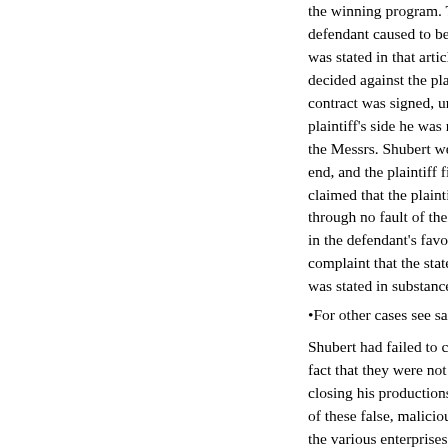the winning program. The defendant caused to be published was stated in that article that an decided against the plaintiff; that contract was signed, under which plaintiff's side he was restrained the Messrs. Shubert were to supp end, and the plaintiff filed suit fo claimed that the plaintiff's shows through no fault of theirs; and tha in the defendant's favor, and the complaint that the statements co was stated in substance that there
•For other cases see same topic &
Shubert had failed to carry out th fact that they were not successfu closing his productions was not g of these false, malicious, defama the various enterprises which the aforesaid false, malicious, defam plaintiff has been damaged in the
It is quite clear that this allega plaintiff to maintain the action m